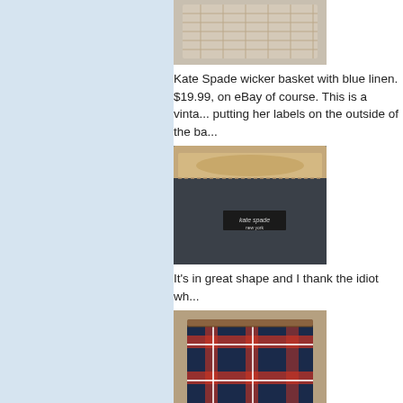[Figure (photo): Top of a Kate Spade wicker basket bag, partially cropped at top]
Kate Spade wicker basket with blue linen. $19.99, on eBay of course. This is a vinta... putting her labels on the outside of the ba...
[Figure (photo): Interior of a Kate Spade bag showing the kate spade new york label tag]
It's in great shape and I thank the idiot wh...
[Figure (photo): Kate Spade wool plaid FE tote bag in blue, red, and white tartan pattern]
Kate Spade wool plaid FE tote. It's from t... you are my friend.
[Figure (photo): Bottom portion of a bag showing dark handles, partially cropped]